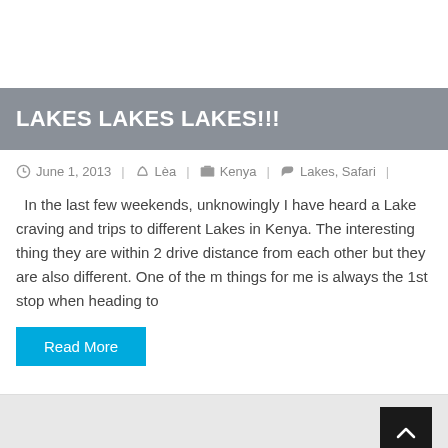LAKES LAKES LAKES!!!
June 1, 2013  |  Lèa  |  Kenya  |  Lakes, Safari  |
In the last few weekends, unknowingly I have heard a Lake craving and trips to different Lakes in Kenya. The interesting thing they are within 2 drive distance from each other but they are also different. One of the m things for me is always the 1st stop when heading to
Read More